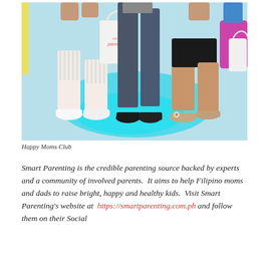[Figure (photo): Photo showing people from the waist down standing on a bright teal/blue floor. One person wears striped shorts and white sneakers and carries a tote bag with 'Smart Parenting' text. Another person is in jeans and dark shoes. A third person wears black shorts and decorative sandals. The background includes colorful bags.]
Happy Moms Club
Smart Parenting is the credible parenting source backed by experts and a community of involved parents.  It aims to help Filipino moms and dads to raise bright, happy and healthy kids.  Visit Smart Parenting's website at https://smartparenting.com.ph and follow them on their Social